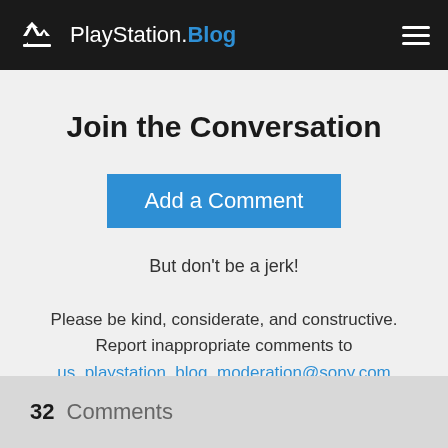PlayStation.Blog
Join the Conversation
Add a Comment
But don't be a jerk!
Please be kind, considerate, and constructive. Report inappropriate comments to us_playstation_blog_moderation@sony.com
32 Comments